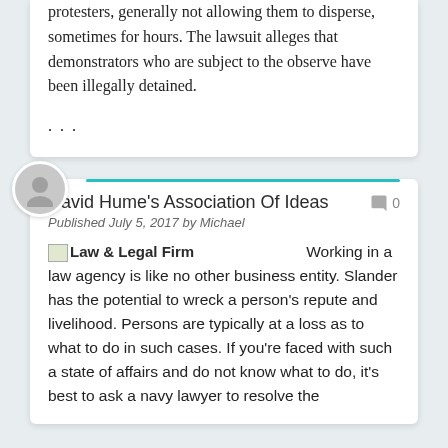protesters, generally not allowing them to disperse, sometimes for hours. The lawsuit alleges that demonstrators who are subject to the observe have been illegally detained.
...
David Hume's Association Of Ideas
Published July 5, 2017 by Michael
Law & Legal Firm
Working in a law agency is like no other business entity. Slander has the potential to wreck a person's repute and livelihood. Persons are typically at a loss as to what to do in such cases. If you're faced with such a state of affairs and do not know what to do, it's best to ask a navy lawyer to resolve the